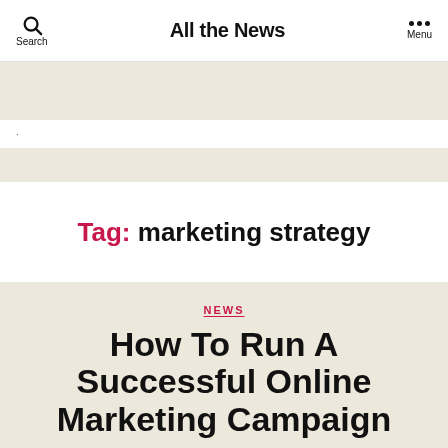All the News
Tag: marketing strategy
NEWS
How To Run A Successful Online Marketing Campaign